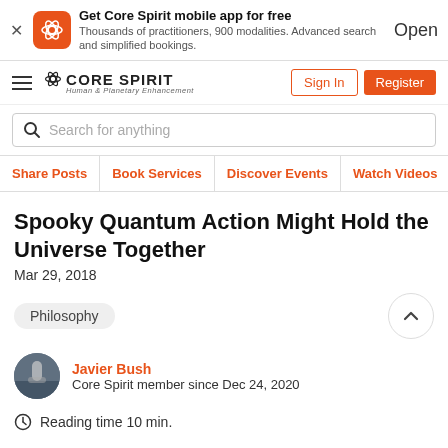Get Core Spirit mobile app for free
Thousands of practitioners, 900 modalities. Advanced search and simplified bookings.
Open
[Figure (logo): Core Spirit logo with hamburger menu, Sign In button, Register button]
Search for anything
Share Posts
Book Services
Discover Events
Watch Videos
Spooky Quantum Action Might Hold the Universe Together
Mar 29, 2018
Philosophy
Javier Bush
Core Spirit member since Dec 24, 2020
Reading time 10 min.